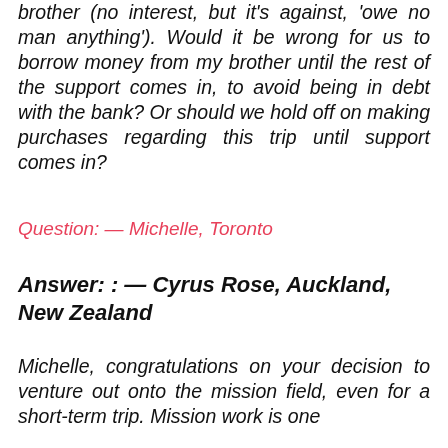brother (no interest, but it's against, 'owe no man anything'). Would it be wrong for us to borrow money from my brother until the rest of the support comes in, to avoid being in debt with the bank? Or should we hold off on making purchases regarding this trip until support comes in?
Question: — Michelle, Toronto
Answer: : — Cyrus Rose, Auckland, New Zealand
Michelle, congratulations on your decision to venture out onto the mission field, even for a short-term trip. Mission work is one